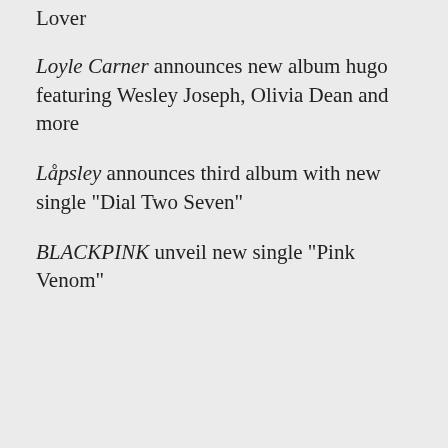Lover
Loyle Carner announces new album hugo featuring Wesley Joseph, Olivia Dean and more
Låpsley announces third album with new single "Dial Two Seven"
BLACKPINK unveil new single "Pink Venom"